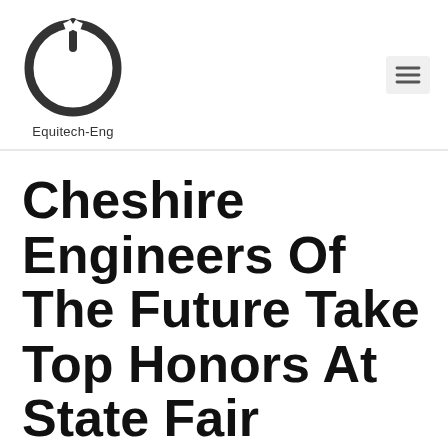[Figure (logo): Equitech-Eng logo: a power button icon (circle with a vertical line at top and an open arc) above the text 'Equitech-Eng']
[Figure (other): Hamburger menu button (three horizontal lines) inside a light gray rounded rectangle]
Cheshire Engineers Of The Future Take Top Honors At State Fair